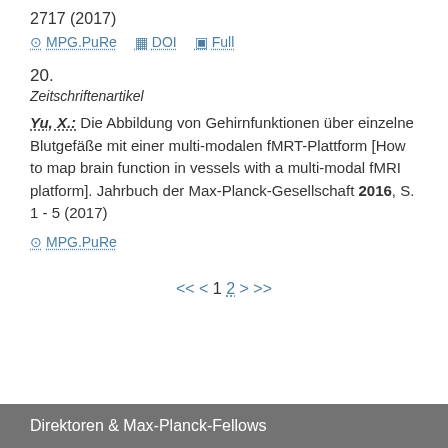2717 (2017)
MPG.PuRe  DOI  Full
20.
Zeitschriftenartikel
Yu, X.: Die Abbildung von Gehirnfunktionen über einzelne Blutgefäße mit einer multi-modalen fMRT-Plattform [How to map brain function in vessels with a multi-modal fMRI platform]. Jahrbuch der Max-Planck-Gesellschaft 2016, S. 1 - 5 (2017)
MPG.PuRe
<< < 1 2 > >>
Direktoren & Max-Planck-Fellows